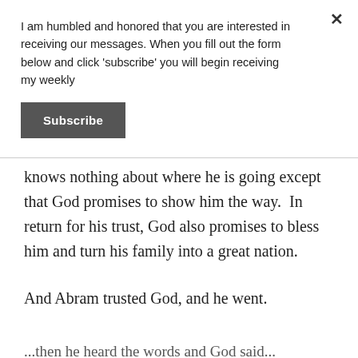I am humbled and honored that you are interested in receiving our messages. When you fill out the form below and click 'subscribe' you will begin receiving my weekly
Subscribe
knows nothing about where he is going except that God promises to show him the way.  In return for his trust, God also promises to bless him and turn his family into a great nation.
And Abram trusted God, and he went.
...